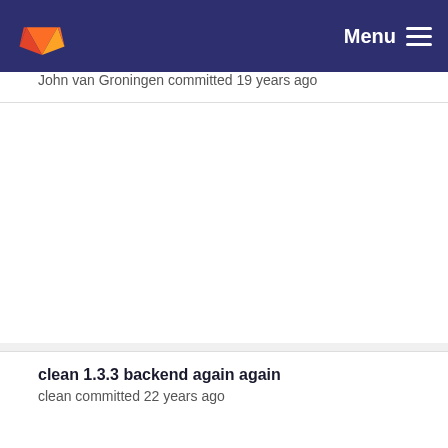Menu
John van Groningen committed 19 years ago
clean 1.3.3 backend again again
clean committed 22 years ago
changes for dynamic linking (not tested)
clean committed 21 years ago
clean 1.3.3 backend again again
clean committed 22 years ago